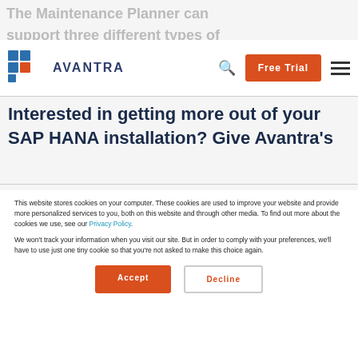The Maintenance Planner can support three different types of plans: single cycle, time and performance-based.
[Figure (logo): Avantra logo with geometric shapes in blue and orange, text AVANTRA]
Free Trial
Interested in getting more out of your SAP HANA installation? Give Avantra's
This website stores cookies on your computer. These cookies are used to improve your website and provide more personalized services to you, both on this website and through other media. To find out more about the cookies we use, see our Privacy Policy.
We won't track your information when you visit our site. But in order to comply with your preferences, we'll have to use just one tiny cookie so that you're not asked to make this choice again.
Accept
Decline